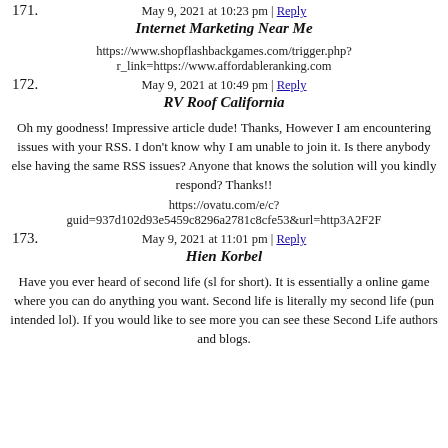May 9, 2021 at 10:23 pm | Reply
171.
Internet Marketing Near Me
https://www.shopflashbackgames.com/trigger.php?r_link=https://www.affordableranking.com
May 9, 2021 at 10:49 pm | Reply
172.
RV Roof California
Oh my goodness! Impressive article dude! Thanks, However I am encountering issues with your RSS. I don't know why I am unable to join it. Is there anybody else having the same RSS issues? Anyone that knows the solution will you kindly respond? Thanks!!
https://ovatu.com/e/c?guid=937d102d93e5459c8296a2781c8cfe53&url=http3A2F2F
May 9, 2021 at 11:01 pm | Reply
173.
Hien Korbel
Have you ever heard of second life (sl for short). It is essentially a online game where you can do anything you want. Second life is literally my second life (pun intended lol). If you would like to see more you can see these Second Life authors and blogs.